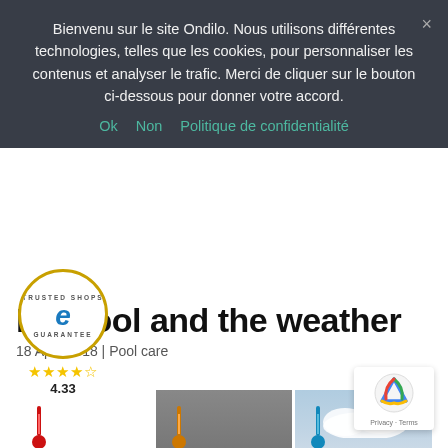Bienvenu sur le site Ondilo. Nous utilisons différentes technologies, telles que les cookies, pour personnaliser les contenus et analyser le trafic. Merci de cliquer sur le bouton ci-dessous pour donner votre accord.
Ok   Non   Politique de confidentialité
My pool and the weather
18 April 2018 | Pool care
[Figure (photo): Three side-by-side images of a pool under different weather conditions: sunny (red thermometer), overcast/rainy (orange thermometer), and partly cloudy (blue thermometer). Each shows a tropical pool with palm trees in the background.]
[Figure (logo): Trusted Shops Guarantee badge with 4.33 star rating]
[Figure (logo): Google reCAPTCHA badge with Privacy and Terms links]